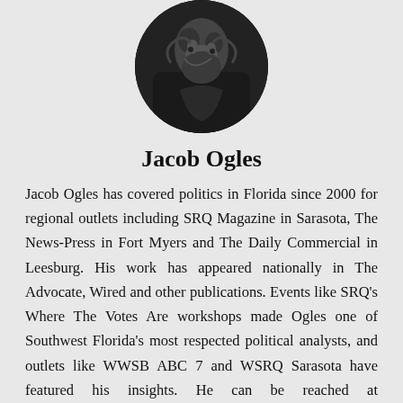[Figure (photo): Circular cropped black and white portrait photo of Jacob Ogles]
Jacob Ogles
Jacob Ogles has covered politics in Florida since 2000 for regional outlets including SRQ Magazine in Sarasota, The News-Press in Fort Myers and The Daily Commercial in Leesburg. His work has appeared nationally in The Advocate, Wired and other publications. Events like SRQ's Where The Votes Are workshops made Ogles one of Southwest Florida's most respected political analysts, and outlets like WWSB ABC 7 and WSRQ Sarasota have featured his insights. He can be reached at jacobogles@hotmail.com.